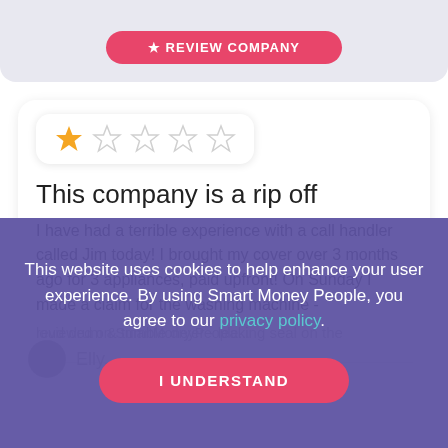[Figure (screenshot): Top portion of a review card with a pink 'REVIEW COMPANY' button on a light purple/lavender background]
[Figure (screenshot): Star rating widget showing 1 out of 5 stars (one filled orange star, four empty grey stars) in a white rounded box]
This company is a rip off
I have had a terrible experience with a call handler called Jim today! I brought my cover over 3 months ago for 3 appliances, paid upfront! On Sunday I made a claim for the washing machine - loud drum & tumble dryer - leaking seal on the...
reviewed on SmartMoneyPeople...
Elly...
This website uses cookies to help enhance your user experience. By using Smart Money People, you agree to our privacy policy.
I UNDERSTAND